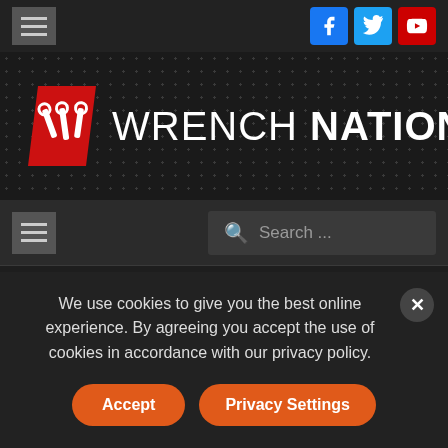Wrench Nation website header with hamburger menu and social icons (Facebook, Twitter, YouTube)
[Figure (logo): Wrench Nation logo: red parallelogram with white wrenches icon, beside text WRENCH NATION in white on dark dotted background]
Navigation bar with hamburger menu and Search... input
Posted by Frank Leutz on July 15, 2018 in Inside The
We use cookies to give you the best online experience. By agreeing you accept the use of cookies in accordance with our privacy policy.
Accept   Privacy Settings